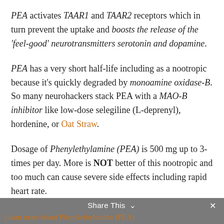PEA activates TAAR1 and TAAR2 receptors which in turn prevent the uptake and boosts the release of the 'feel-good' neurotransmitters serotonin and dopamine.
PEA has a very short half-life including as a nootropic because it's quickly degraded by monoamine oxidase-B. So many neurohackers stack PEA with a MAO-B inhibitor like low-dose selegiline (L-deprenyl), hordenine, or Oat Straw.
Dosage of Phenylethylamine (PEA) is 500 mg up to 3-times per day. More is NOT better of this nootropic and too much can cause severe side effects including rapid heart rate.
Share This  ×  Learn more about Phenylethylamine (PEA)